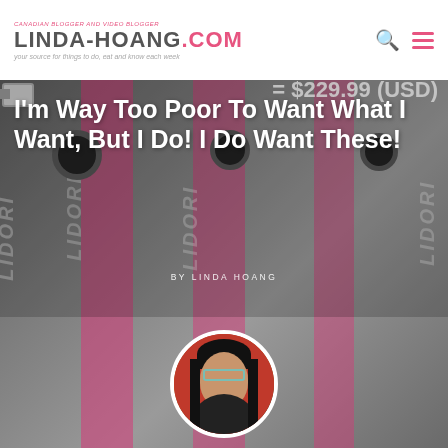CANADIAN BLOGGER AND VIDEO BLOGGER
LINDA-HOANG.COM
your source for things to do, eat and know each week
[Figure (photo): Hero image showing USB-style camera devices (Lidor branding) with pink text, price tag showing = $229.99 (USD) in background, overlaid with article title and author byline, with circular author photo at bottom]
I'm Way Too Poor To Want What I Want, But I Do! I Do Want These!
BY LINDA HOANG